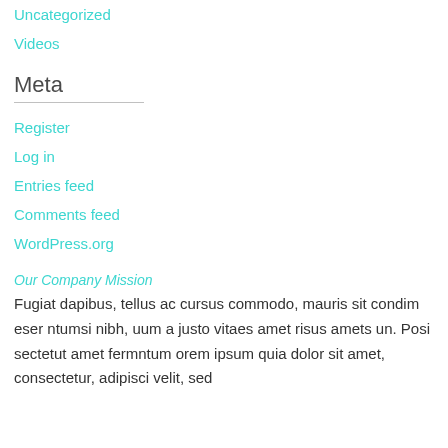Uncategorized
Videos
Meta
Register
Log in
Entries feed
Comments feed
WordPress.org
Our Company Mission
Fugiat dapibus, tellus ac cursus commodo, mauris sit condim eser ntumsi nibh, uum a justo vitaes amet risus amets un. Posi sectetut amet fermntum orem ipsum quia dolor sit amet, consectetur, adipisci velit, sed